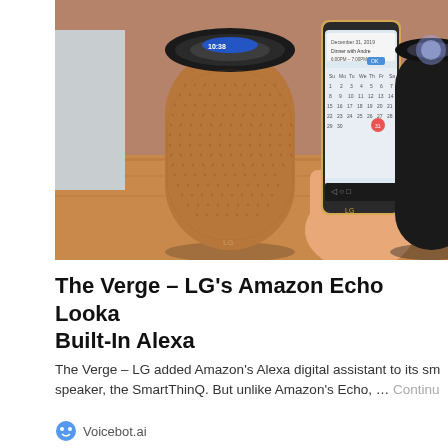[Figure (photo): Photo showing an LG SmartThinQ cylindrical smart speaker in rose gold/copper finish on the left, a hand holding an LG smartphone with a calendar event notification on screen in the center, and a black Amazon Echo-style speaker on the right, on a wooden table surface with a brick wall background.]
The Verge – LG's Amazon Echo Lookalike Has Built-In Alexa
The Verge – LG added Amazon's Alexa digital assistant to its smart speaker, the SmartThinQ. But unlike Amazon's Echo, … Continue
Voicebot.ai